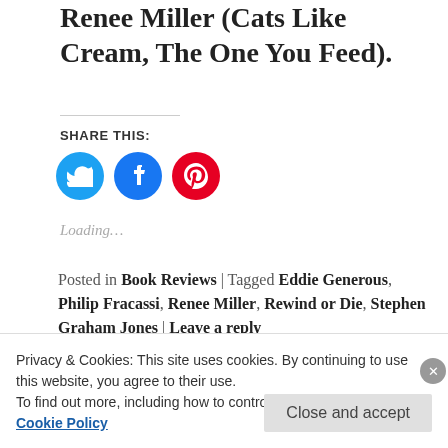Renee Miller (Cats Like Cream, The One You Feed).
SHARE THIS:
[Figure (infographic): Three social media share buttons: Twitter (blue bird icon), Facebook (blue f icon), Pinterest (red P icon)]
Loading…
Posted in Book Reviews | Tagged Eddie Generous, Philip Fracassi, Renee Miller, Rewind or Die, Stephen Graham Jones | Leave a reply
Privacy & Cookies: This site uses cookies. By continuing to use this website, you agree to their use.
To find out more, including how to control cookies, see here: Cookie Policy
Close and accept